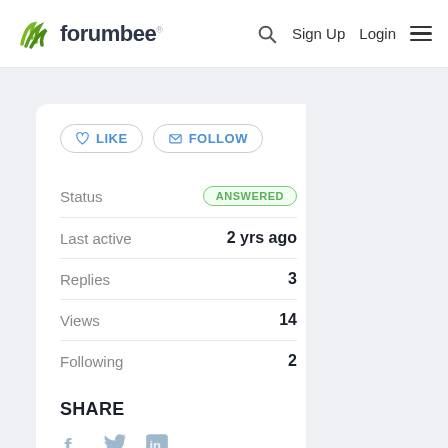forumbee — Sign Up  Login
LIKE  FOLLOW
| Field | Value |
| --- | --- |
| Status | ANSWERED |
| Last active | 2 yrs ago |
| Replies | 3 |
| Views | 14 |
| Following | 2 |
SHARE
[Figure (illustration): Social share icons: Facebook, Twitter, LinkedIn]